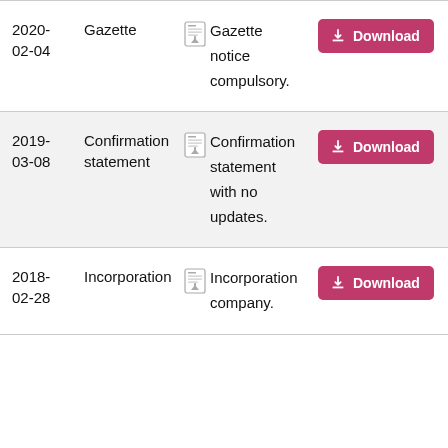| Date | Type |  | Description | Action |
| --- | --- | --- | --- | --- |
| 2020-02-04 | Gazette | [pdf] | Gazette notice compulsory. | Download |
| 2019-03-08 | Confirmation statement | [pdf] | Confirmation statement with no updates. | Download |
| 2018-02-28 | Incorporation | [pdf] | Incorporation company. | Download |